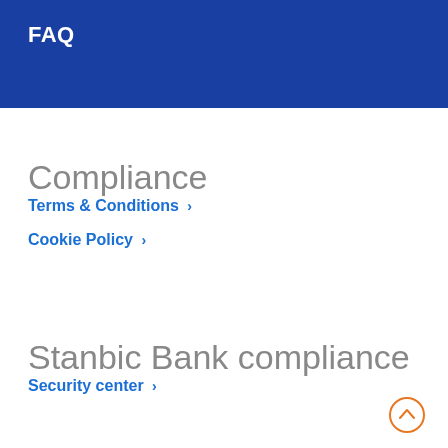FAQ
Compliance
Terms & Conditions ›
Cookie Policy ›
Stanbic Bank compliance
Security center ›